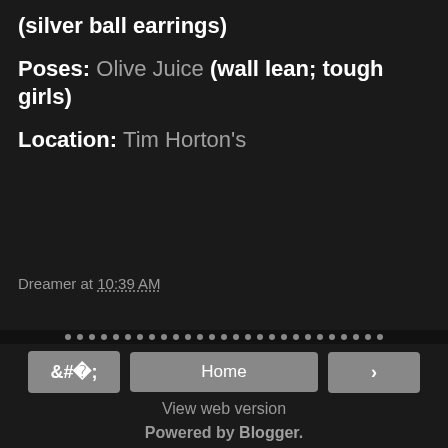(silver ball earrings)
Poses: Olive Juice (wall lean; tough girls)
Location: Tim Horton's
Dreamer at 10:39 AM
Home | View web version | Powered by Blogger.